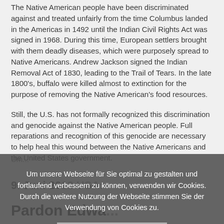The Native American people have been discriminated against and treated unfairly from the time Columbus landed in the Americas in 1492 until the Indian Civil Rights Act was signed in 1968. During this time, European settlers brought with them deadly diseases, which were purposely spread to Native Americans. Andrew Jackson signed the Indian Removal Act of 1830, leading to the Trail of Tears. In the late 1800's, buffalo were killed almost to extinction for the purpose of removing the Native American's food resources.
Still, the U.S. has not formally recognized this discrimination and genocide against the Native American people. Full reparations and recognition of this genocide are necessary to help heal this wound between the Native Americans and the United States government.
Um unsere Webseite für Sie optimal zu gestalten und fortlaufend verbessern zu können, verwenden wir Cookies. Durch die weitere Nutzung der Webseite stimmen Sie der Verwendung von Cookies zu.
Einverstanden
9. Juni 20... USA:
Pardon Edwa...